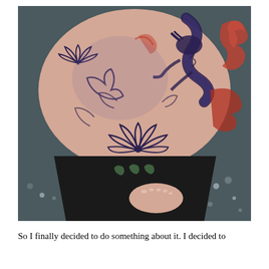[Figure (photo): A close-up photograph showing a person's torso and lower body area with elaborate tattoos including a dragon and lotus flower designs in dark blue/black and red ink on skin, wearing black clothing, with a bare foot visible at the bottom. The background shows a dark speckled floor.]
So I finally decided to do something about it. I decided to